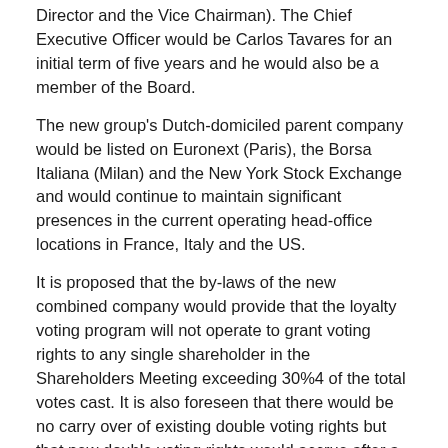Director and the Vice Chairman). The Chief Executive Officer would be Carlos Tavares for an initial term of five years and he would also be a member of the Board.
The new group's Dutch-domiciled parent company would be listed on Euronext (Paris), the Borsa Italiana (Milan) and the New York Stock Exchange and would continue to maintain significant presences in the current operating head-office locations in France, Italy and the US.
It is proposed that the by-laws of the new combined company would provide that the loyalty voting program will not operate to grant voting rights to any single shareholder in the Shareholders Meeting exceeding 30%4 of the total votes cast. It is also foreseen that there would be no carry over of existing double voting rights but that new double voting rights would accrue after a three-year holding period after completion of the merger.
A standstill in respect of the shareholdings of EXOR N.V., Bpifrance Participations SA, DFG and the Peugeot Family would apply for a period of 7 years following completion